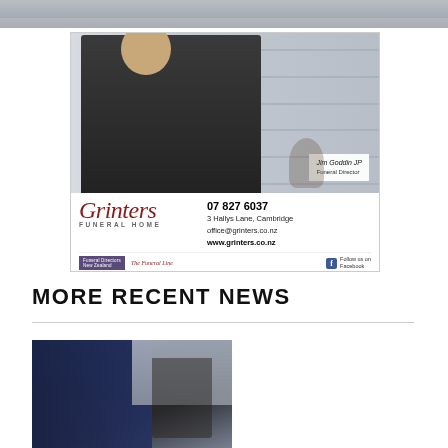[Figure (photo): Top partial photo strip]
[Figure (photo): Grinters Funeral Home advertisement featuring Jim Goddin JP, Funeral Director. Shows man in dark suit, with contact details: 07 827 6037, 3 Hallys Lane, Cambridge, office@grinters.co.nz, www.grinters.co.nz. Funeral Directors New Zealand member, The Funeral Line, Follow us on Facebook.]
MORE RECENT NEWS
[Figure (photo): Partial news article photo showing a building against a grey sky]